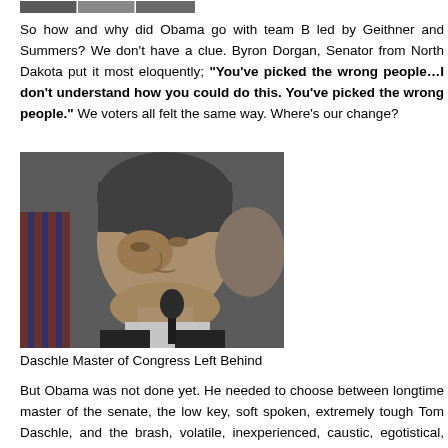[Figure (photo): Three cropped photos of people at top of page]
So how and why did Obama go with team B led by Geithner and Summers? We don't have a clue. Byron Dorgan, Senator from North Dakota put it most eloquently; "You've picked the wrong people…I don't understand how you could do this. You've picked the wrong people." We voters all felt the same way. Where's our change?
[Figure (photo): Black and white photograph of Tom Daschle looking down at a microphone, with an American flag partially visible in the background]
Daschle Master of Congress Left Behind
But Obama was not done yet. He needed to choose between longtime master of the senate, the low key, soft spoken, extremely tough Tom Daschle, and the brash, volatile, inexperienced, caustic, egotistical, fourth ranked